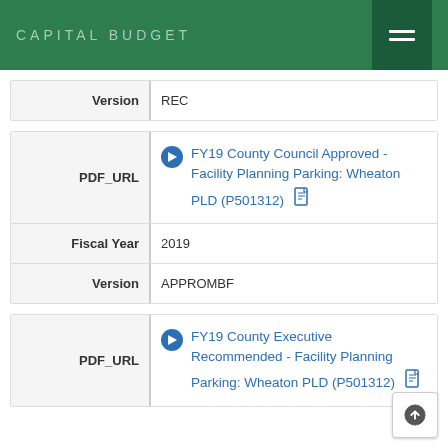CAPITAL BUDGET
| Version |  |
| --- | --- |
| Version | REC |
| PDF_URL | Fiscal Year | Version |
| --- | --- | --- |
| PDF_URL | FY19 County Council Approved - Facility Planning Parking: Wheaton PLD (P501312) |
| Fiscal Year | 2019 |
| Version | APPROMBF |
| PDF_URL |  |
| --- | --- |
| PDF_URL | FY19 County Executive Recommended - Facility Planning Parking: Wheaton PLD (P501312) |